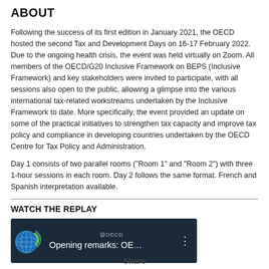ABOUT
Following the success of its first edition in January 2021, the OECD hosted the second Tax and Development Days on 16-17 February 2022. Due to the ongoing health crisis, the event was held virtually on Zoom. All members of the OECD/G20 Inclusive Framework on BEPS (Inclusive Framework) and key stakeholders were invited to participate, with all sessions also open to the public, allowing a glimpse into the various international tax-related workstreams undertaken by the Inclusive Framework to date. More specifically, the event provided an update on some of the practical initiatives to strengthen tax capacity and improve tax policy and compliance in developing countries undertaken by the OECD Centre for Tax Policy and Administration.
Day 1 consists of two parallel rooms ("Room 1" and "Room 2") with three 1-hour sessions in each room. Day 2 follows the same format. French and Spanish interpretation available.
WATCH THE REPLAY
[Figure (screenshot): Video thumbnail showing OECD globe logo and text 'Opening remarks: OE...' on dark background]
Share